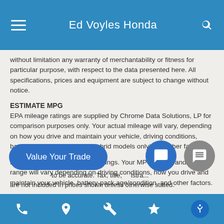Ed Voyles Honda
without limitation any warranty of merchantability or fitness for particular purpose, with respect to the data presented here. All specifications, prices and equipment are subject to change without notice.
ESTIMATE MPG
EPA mileage ratings are supplied by Chrome Data Solutions, LP for comparison purposes only. Your actual mileage will vary, depending on how you drive and maintain your vehicle, driving conditions, battery pack age/condition (hybrid models only) and other factors.
Based on 2019 EPA mileage ratings. Your MPGe/MPG and driving range will vary depending on driving conditions, how you drive and maintain your vehicle, battery-pack age/condition, and other factors.
...to be accurate. Tax, title, ...stra... are not included in prices shown unless otherwise stated.
Navigation bar with phone, location, wrench, star, accessibility icons